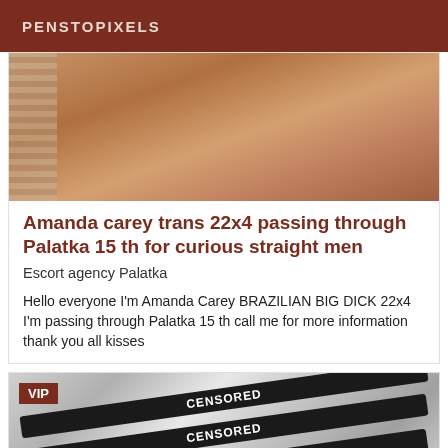PENSTOPIXELS
[Figure (photo): Close-up photo of a person's body, partially obscured]
Amanda carey trans 22x4 passing through Palatka 15 th for curious straight men
Escort agency Palatka
Hello everyone I'm Amanda Carey BRAZILIAN BIG DICK 22x4 I'm passing through Palatka 15 th call me for more information thank you all kisses
[Figure (photo): Photo with VIP badge and censored bars overlay]